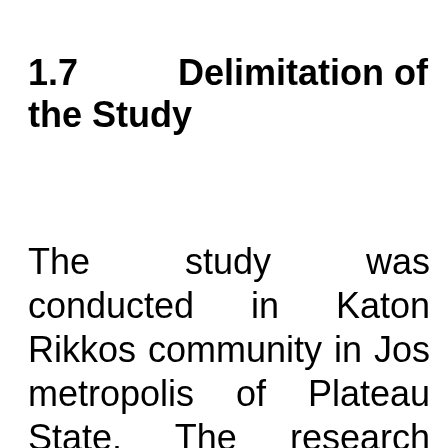1.7          Delimitation of the Study
The study was conducted in Katon Rikkos community in Jos metropolis of Plateau State. The research focused on the effects of different interactions CBT...